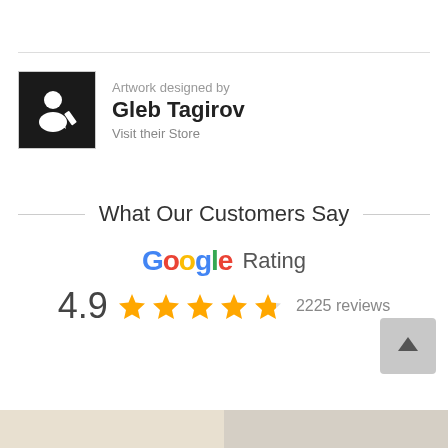[Figure (logo): Artist icon — dark square with a person/edit icon in white]
Artwork designed by
Gleb Tagirov
Visit their Store
What Our Customers Say
[Figure (logo): Google logo text in Google brand colors followed by 'Rating' text]
4.9 ★★★★★ 2225 reviews
[Figure (photo): Two partial thumbnail images at the bottom of the page]